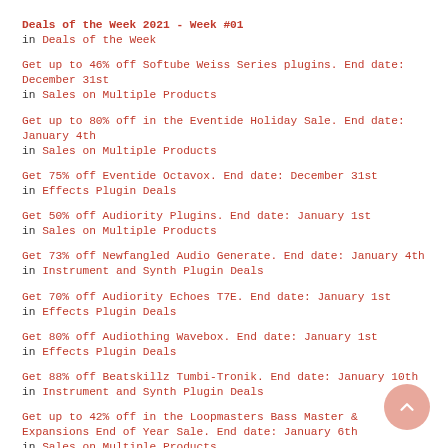Deals of the Week 2021 - Week #01
in Deals of the Week
Get up to 46% off Softube Weiss Series plugins. End date: December 31st
in Sales on Multiple Products
Get up to 80% off in the Eventide Holiday Sale. End date: January 4th
in Sales on Multiple Products
Get 75% off Eventide Octavox. End date: December 31st
in Effects Plugin Deals
Get 50% off Audiority Plugins. End date: January 1st
in Sales on Multiple Products
Get 73% off Newfangled Audio Generate. End date: January 4th
in Instrument and Synth Plugin Deals
Get 70% off Audiority Echoes T7E. End date: January 1st
in Effects Plugin Deals
Get 80% off Audiothing Wavebox. End date: January 1st
in Effects Plugin Deals
Get 88% off Beatskillz Tumbi-Tronik. End date: January 10th
in Instrument and Synth Plugin Deals
Get up to 42% off in the Loopmasters Bass Master & Expansions End of Year Sale. End date: January 6th
in Sales on Multiple Products